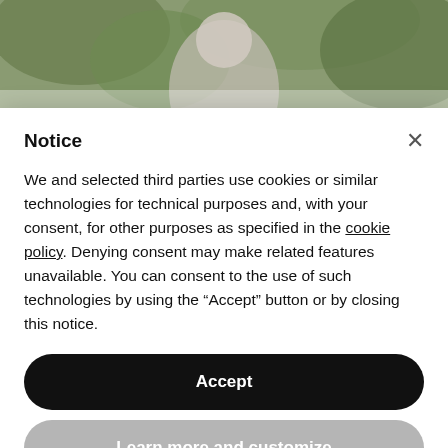[Figure (photo): A photo of a person outdoors with green foliage in the background, partially visible at the top of the page.]
The Vibe Of Our Day
Notice
We and selected third parties use cookies or similar technologies for technical purposes and, with your consent, for other purposes as specified in the cookie policy. Denying consent may make related features unavailable. You can consent to the use of such technologies by using the “Accept” button or by closing this notice.
Accept
Learn more and customize